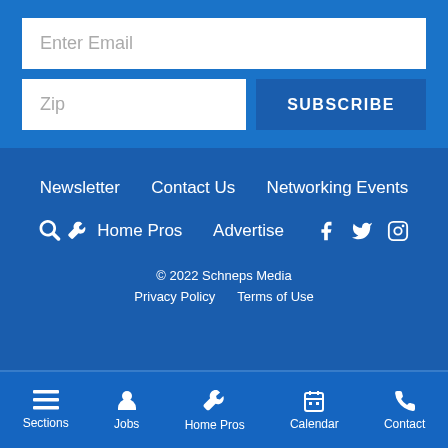Enter Email
Zip
SUBSCRIBE
Newsletter
Contact Us
Networking Events
Home Pros
Advertise
© 2022 Schneps Media
Privacy Policy
Terms of Use
Sections  Jobs  Home Pros  Calendar  Contact